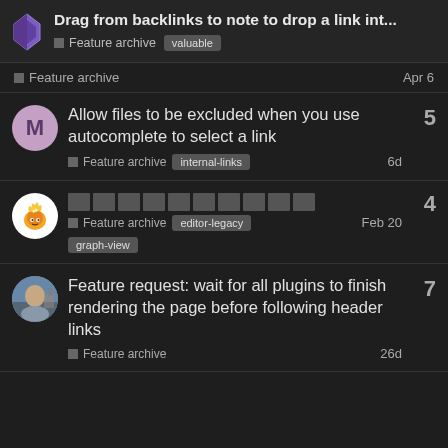Drag from backlinks to note to drop a link int... | Feature archive | valuable
Feature archive | Apr 6
Allow files to be excluded when you use autocomplete to select a link | Feature archive | internal-links | 6d | 5
[redacted title] | Feature archive | editor-legacy | graph-view | Feb 20 | 4
Feature request: wait for all plugins to finish rendering the page before following header links | Feature archive | 26d | 7